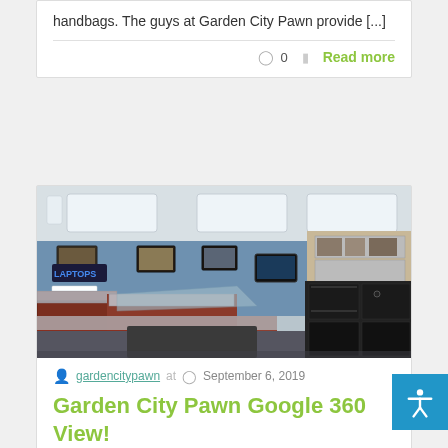handbags. The guys at Garden City Pawn provide [...]
○ 0   Read more
[Figure (photo): Interior of Garden City Pawn shop showing glass display cases with jewelry and merchandise, blue walls with framed pictures, and electronics/equipment on shelves to the right.]
gardencitypawn at  September 6, 2019
Garden City Pawn Google 360 View!
Check out the New @gardencitypawn  Google 360 Virtual Tour.  This is uploaded on our google listing &  gives you a